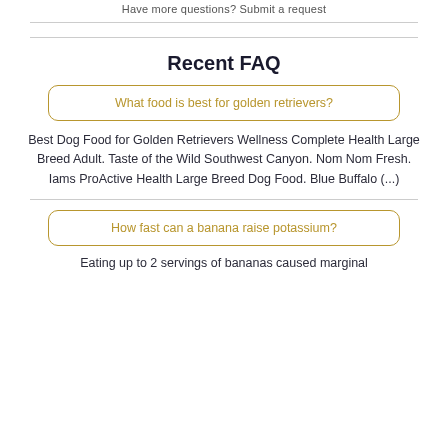Have more questions? Submit a request
Recent FAQ
What food is best for golden retrievers?
Best Dog Food for Golden Retrievers Wellness Complete Health Large Breed Adult. Taste of the Wild Southwest Canyon. Nom Nom Fresh. Iams ProActive Health Large Breed Dog Food. Blue Buffalo (...)
How fast can a banana raise potassium?
Eating up to 2 servings of bananas caused marginal